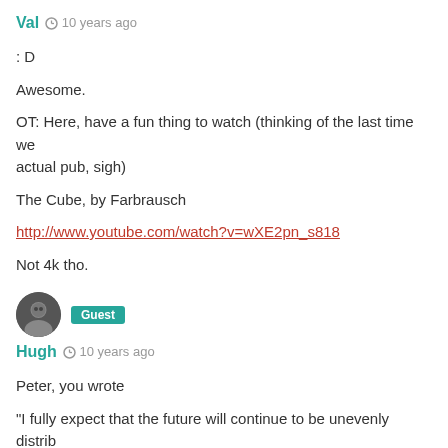Val  10 years ago
: D
Awesome.
OT: Here, have a fun thing to watch (thinking of the last time we actual pub, sigh)
The Cube, by Farbrausch
http://www.youtube.com/watch?v=wXE2pn_s818
Not 4k tho.
Hugh  10 years ago
Peter, you wrote
“I fully expect that the future will continue to be unevenly distrib that the disenfranchised will continue to be disproportionately r in the…”